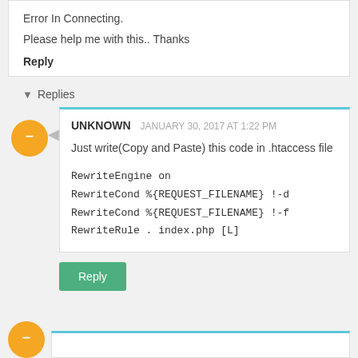Error In Connecting.

Please help me with this.. Thanks
Reply
Replies
UNKNOWN  JANUARY 30, 2017 AT 1:22 PM
Just write(Copy and Paste) this code in .htaccess file
RewriteEngine on
RewriteCond %{REQUEST_FILENAME} !-d
RewriteCond %{REQUEST_FILENAME} !-f
RewriteRule . index.php [L]
Reply